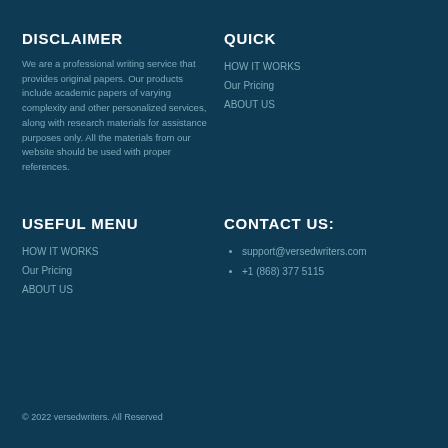DISCLAIMER
We are a professional writing service that provides original papers. Our products include academic papers of varying complexity and other personalized services, along with research materials for assistance purposes only. All the materials from our website should be used with proper references.
QUICK
HOW IT WORKS
Our Pricing
ABOUT US
USEFUL MENU
HOW IT WORKS
Our Pricing
ABOUT US
CONTACT US:
support@versedwriters.com
+1 (868) 377 5115
© 2022 versedwriters. All Reserved